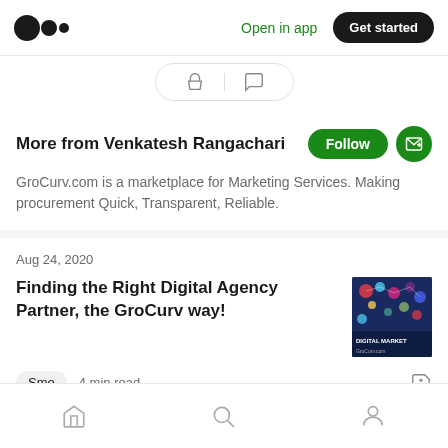Medium logo | Open in app | Get started
[Figure (screenshot): Reaction/share pill with clap and comment icons]
More from Venkatesh Rangachari
GroCurv.com is a marketplace for Marketing Services. Making procurement Quick, Transparent, Reliable.
Aug 24, 2020
Finding the Right Digital Agency Partner, the GroCurv way!
[Figure (photo): Thumbnail image for article about digital marketing with text DIGITAL MARKET on dark blue background]
Sme  4 min read
Home | Search | Profile navigation icons